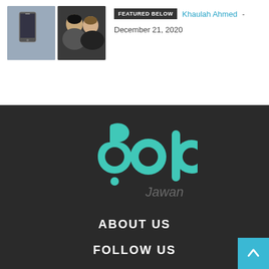[Figure (photo): Two thumbnail images side by side: left shows a person holding a phone, right shows two people smiling]
FEATURED BELOW  Khaulah Ahmed - December 21, 2020
[Figure (logo): Bolo Jawan logo in teal/turquoise on dark background]
ABOUT US
FOLLOW US